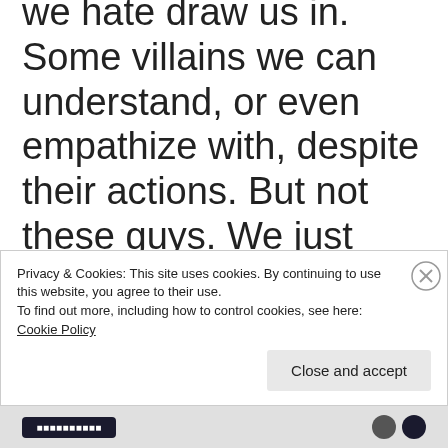we hate draw us in. Some villains we can understand, or even empathize with, despite their actions. But not these guys. We just want them to die. Or, at the very least, be confined to the deepest, darkest prison imaginable with no hope of escape. The
Privacy & Cookies: This site uses cookies. By continuing to use this website, you agree to their use.
To find out more, including how to control cookies, see here: Cookie Policy
Close and accept